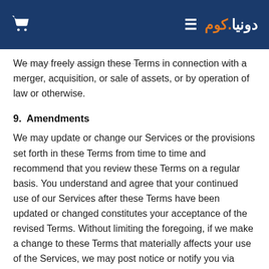دونيا.كوم (Dunya.com) — navigation header with cart icon, hamburger menu, and Arabic logo
We may freely assign these Terms in connection with a merger, acquisition, or sale of assets, or by operation of law or otherwise.
9.  Amendments
We may update or change our Services or the provisions set forth in these Terms from time to time and recommend that you review these Terms on a regular basis. You understand and agree that your continued use of our Services after these Terms have been updated or changed constitutes your acceptance of the revised Terms. Without limiting the foregoing, if we make a change to these Terms that materially affects your use of the Services, we may post notice or notify you via email or our website(s) of any such change. The most current version of the Terms shall govern